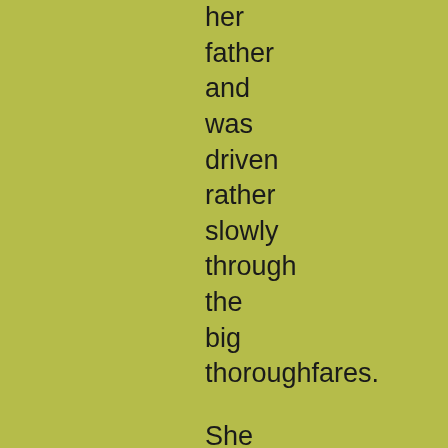her father and was driven rather slowly through the big thoroughfares. She sat with her feet tucked under